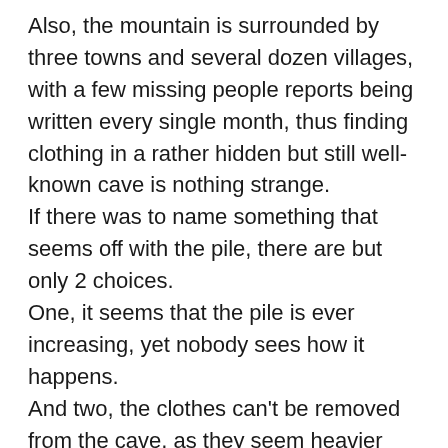Also, the mountain is surrounded by three towns and several dozen villages, with a few missing people reports being written every single month, thus finding clothing in a rather hidden but still well-known cave is nothing strange. If there was to name something that seems off with the pile, there are but only 2 choices. One, it seems that the pile is ever increasing, yet nobody sees how it happens. And two, the clothes can't be removed from the cave, as they seem heavier and heavier, the closer one gets to the cave's exit. Many tried to figure out what's going on, but nobody succeeded...that is until one village young man, decided to pursue his dream of being a great journalist. He already decided what his first article will be. His first article being: "Anomaly or just a prank? Why do